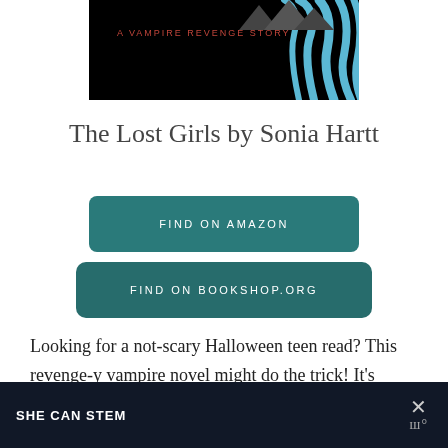[Figure (illustration): Book cover image for 'The Lost Girls' — black background with blue leaf/claw designs on the right and the text 'A VAMPIRE REVENGE STORY' in red on the left]
The Lost Girls by Sonia Hartt
FIND ON AMAZON
FIND ON BOOKSHOP.ORG
Looking for a not-scary Halloween teen read? This revenge-y vampire novel might do the trick! It's about a teen who turned into a vampire for her One True Love and then he
SHE CAN STEM